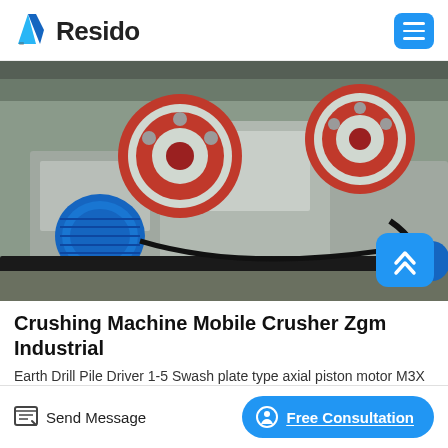Resido
[Figure (photo): Industrial crushing machine / mobile crusher with large red flywheel, blue electric motor, and heavy machinery components in an industrial facility.]
Crushing Machine Mobile Crusher Zgm Industrial
Earth Drill Pile Driver 1-5 Swash plate type axial piston motor M3X series (P2-6) Swash plate type axial piston motor M3B series (P2-6)
Send Message
Free Consultation